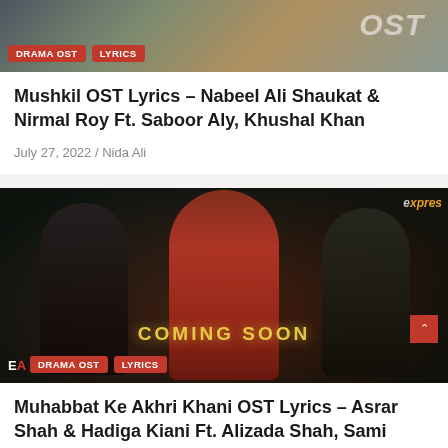[Figure (photo): Drama OST promotional image with text overlay showing 'OST' and tags for DRAMA OST and LYRICS]
Mushkil OST Lyrics – Nabeel Ali Shaukat & Nirmal Roy Ft. Saboor Aly, Khushal Khan
July 27, 2022 / Nida Ali
[Figure (photo): Drama promotional image showing three actors: a bearded man in black on the left, a woman in red in the center, and a young man on the right. Text reads 'COMING SOON'. Tags: DRAMA OST, LYRICS. Express TV logo visible top right.]
Muhabbat Ke Akhri Khani OST Lyrics – Asrar Shah & Hadiga Kiani Ft. Alizada Shah, Sami Khan